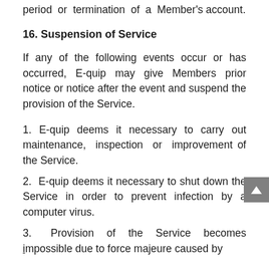period or termination of a Member's account.
16. Suspension of Service
If any of the following events occur or has occurred, E-quip may give Members prior notice or notice after the event and suspend the provision of the Service.
1. E-quip deems it necessary to carry out maintenance, inspection or improvement of the Service.
2. E-quip deems it necessary to shut down the Service in order to prevent infection by a computer virus.
3. Provision of the Service becomes impossible due to force majeure caused by